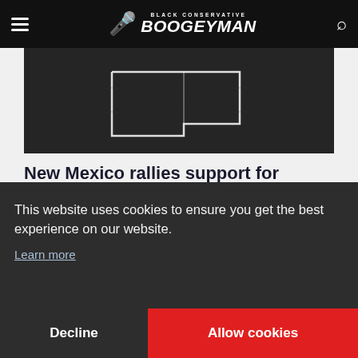Black Conservative Boogeyman
[Figure (photo): Dark grayscale hero image showing what appears to be papers or documents with a white outline/shape in the center]
New Mexico rallies support for hospitalized linebacker
Sep 2, 2022 | Latest News
NEWYou can now listen to Fox News articles!For 22 seconds, none of the 104
This website uses cookies to ensure you get the best experience on our website. Learn more
Decline
Allow cookies